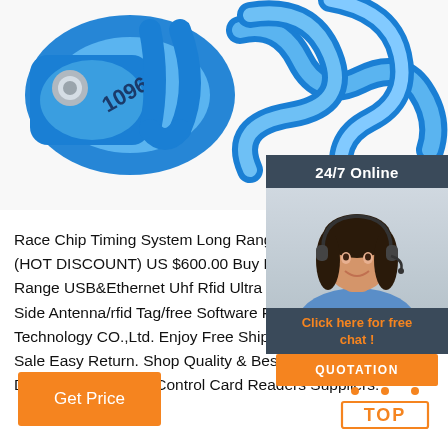[Figure (photo): Blue RFID race chip timing tags/wristbands with numbered tag showing '1096', blue plastic flexible loop connectors on white background]
[Figure (photo): 24/7 Online chat panel with smiling female customer service agent wearing headset, dark background with orange 'Click here for free chat!' text and orange QUOTATION button]
Race Chip Timing System Long Range USB&Ethernet (HOT DISCOUNT) US $600.00 Buy Race Chip Timing Long Range USB&Ethernet Uhf Rfid Ultra Reader/rfid Flo Side Antenna/rfid Tag/free Software From Seller Sha Technology CO.,Ltd. Enjoy Free Shipping Worldwide! Sale Easy Return. Shop Quality & Best Control Card Readers Directly From China Control Card Readers Suppliers.
Get Price